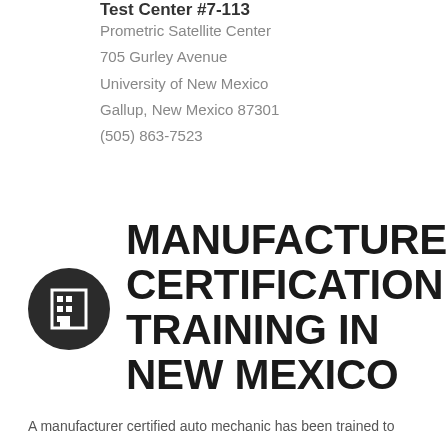Test Center #7-113
Prometric Satellite Center
705 Gurley Avenue
University of New Mexico
Gallup, New Mexico 87301
(505) 863-7523
[Figure (illustration): Dark circular icon with a building/office symbol in white]
MANUFACTURER CERTIFICATION TRAINING IN NEW MEXICO
A manufacturer certified auto mechanic has been trained to